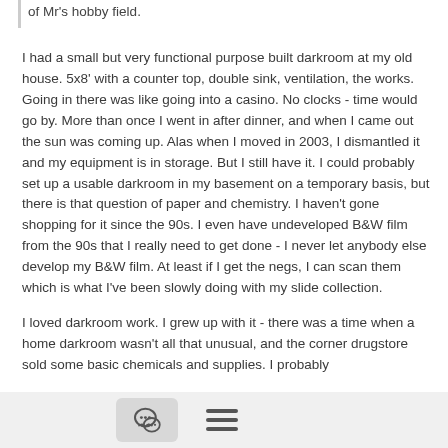of Mr's hobby field.
I had a small but very functional purpose built darkroom at my old house.  5x8' with a counter top, double sink, ventilation, the works.  Going in there was like going into a casino.  No clocks - time would go by.  More than once I went in after dinner, and when I came out the sun was coming up.  Alas when I moved in 2003, I dismantled it and my equipment is in storage.  But I still have it.  I could probably set up a usable darkroom in my basement on a temporary basis, but there is that question of paper and chemistry.  I haven't gone shopping for it since the 90s.  I even have undeveloped B&W film from the 90s that I really need to get done - I never let anybody else develop my B&W film.  At least if I get the negs, I can scan them which is what I've been slowly doing with my slide collection.
I loved darkroom work.  I grew up with it - there was a time when a home darkroom wasn't all that unusual, and the corner drugstore sold some basic chemicals and supplies.  I probably
[Figure (other): Bottom navigation bar with a comment bubble icon button and a hamburger menu icon]